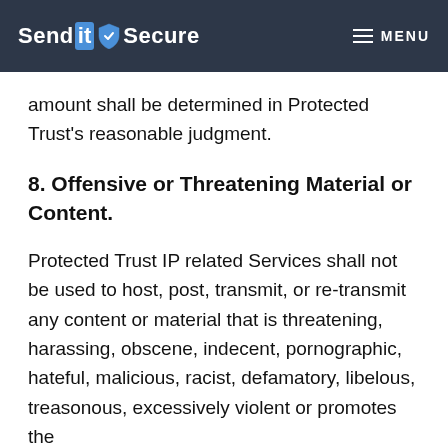SendIt Secure — MENU
amount shall be determined in Protected Trust's reasonable judgment.
8. Offensive or Threatening Material or Content.
Protected Trust IP related Services shall not be used to host, post, transmit, or re-transmit any content or material that is threatening, harassing, obscene, indecent, pornographic, hateful, malicious, racist, defamatory, libelous, treasonous, excessively violent or promotes the